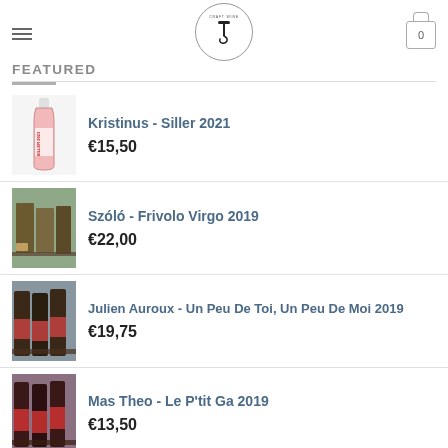Craft Wine - Featured
FEATURED
Kristinus - Siller 2021 €15,50
Szóló - Frivolo Virgo 2019 €22,00
Julien Auroux - Un Peu De Toi, Un Peu De Moi 2019 €19,75
Mas Theo - Le P'tit Ga 2019 €13,50